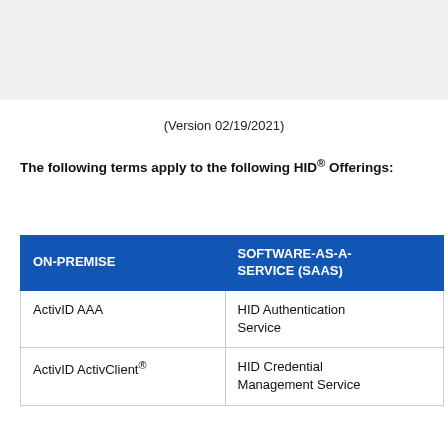(Version 02/19/2021)
The following terms apply to the following HID® Offerings:
| ON-PREMISE | SOFTWARE-AS-A-SERVICE (SAAS) |
| --- | --- |
| ActivID AAA | HID Authentication Service |
| ActivID ActivClient® | HID Credential Management Service |